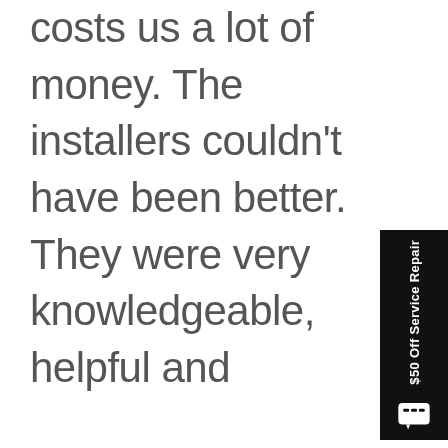costs us a lot of money. The installers couldn't have been better. They were very knowledgeable, helpful and
[Figure (other): Sidebar widget with black background showing '$50 Off Service Repair' text rotated vertically and a chat bubble icon]